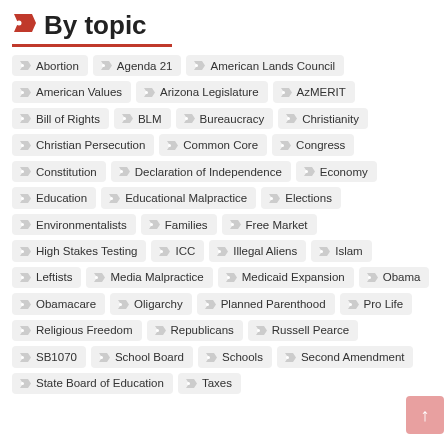By topic
Abortion
Agenda 21
American Lands Council
American Values
Arizona Legislature
AzMERIT
Bill of Rights
BLM
Bureaucracy
Christianity
Christian Persecution
Common Core
Congress
Constitution
Declaration of Independence
Economy
Education
Educational Malpractice
Elections
Environmentalists
Families
Free Market
High Stakes Testing
ICC
Illegal Aliens
Islam
Leftists
Media Malpractice
Medicaid Expansion
Obama
Obamacare
Oligarchy
Planned Parenthood
Pro Life
Religious Freedom
Republicans
Russell Pearce
SB1070
School Board
Schools
Second Amendment
State Board of Education
Taxes